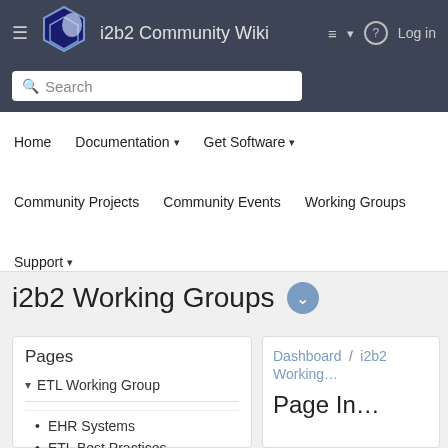i2b2 Community Wiki
Search
Home   Documentation ▾   Get Software ▾   Community Projects   Community Events   Working Groups   Support ▾
i2b2 Working Groups
Pages
ETL Working Group
EHR Systems
ETL Best Practices
Dashboard / i2b2 Working
Page In…